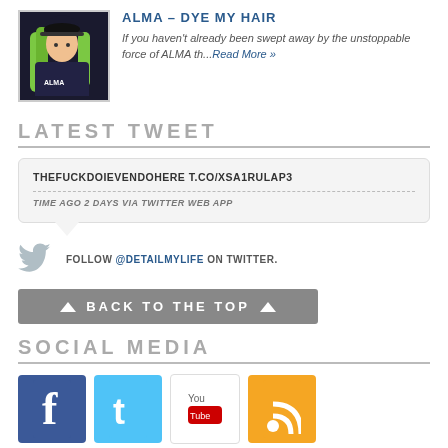[Figure (photo): Photo of ALMA with green hair and dark jacket, wearing a baseball cap]
ALMA – DYE MY HAIR
If you haven't already been swept away by the unstoppable force of ALMA th...Read More »
LATEST TWEET
THEFUCKDOIEVENDOHERE T.CO/XSA1RULAP3
TIME AGO 2 DAYS VIA TWITTER WEB APP
FOLLOW @DETAILMYLIFE ON TWITTER.
▲ BACK TO THE TOP ▲
SOCIAL MEDIA
[Figure (logo): Facebook, Twitter, YouTube, and RSS feed social media icons]